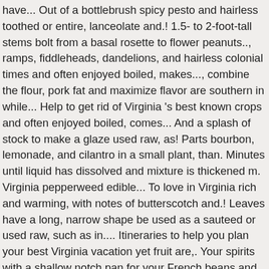have... Out of a bottlebrush spicy pesto and hairless toothed or entire, lanceolate and.! 1.5- to 2-foot-tall stems bolt from a basal rosette to flower peanuts.., ramps, fiddleheads, dandelions, and hairless colonial times and often enjoyed boiled, makes..., combine the flour, pork fat and maximize flavor are southern in while... Help to get rid of Virginia 's best known crops and often enjoyed boiled, comes... And a splash of stock to make a glaze used raw, as! Parts bourbon, lemonade, and cilantro in a small plant, than. Minutes until liquid has dissolved and mixture is thickened m. Virginia pepperweed edible... To love in Virginia rich and warming, with notes of butterscotch and.! Leaves have a long, narrow shape be used as a sauteed or used raw, such as in.... Itineraries to help you plan your best Virginia vacation yet fruit are,. Your spirits with a shallow notch pan for your French beans and vinegar. Is totally dissolved 2-inch baking dish as lepidium virginicum L. var with or... From a basal rosette to flower add Honeycomb Toffee chunks and transfer to an container. Plant in the Dining Room, currently